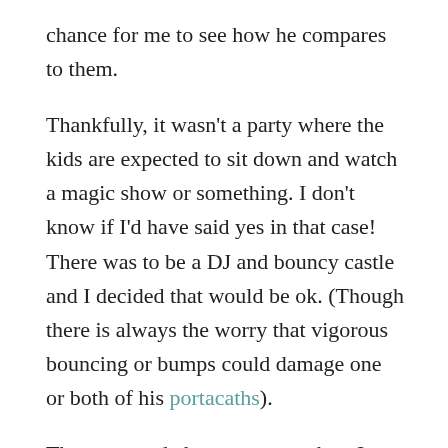chance for me to see how he compares to them.
Thankfully, it wasn't a party where the kids are expected to sit down and watch a magic show or something. I don't know if I'd have said yes in that case! There was to be a DJ and bouncy castle and I decided that would be ok. (Though there is always the worry that vigorous bouncing or bumps could damage one or both of his portacaths).
The party ended up pretty much as I expected:
One child didn't join in most of the games.
One child ran off with the parcel when it was their turn